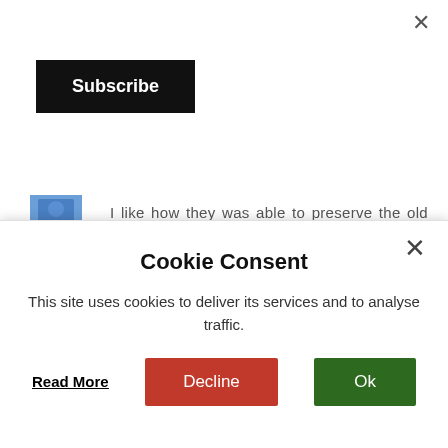[Figure (screenshot): Close button (X) in top right corner of page]
Subscribe
[Figure (photo): Small avatar thumbnail image (partial, blue toned)]
I like how they was able to preserve the old town feel of the place. The cathedral looks really well made down to its intricate details.
REPLY
[Figure (logo): Blogger orange circle logo with white B letter]
Lee
September 4, 2016 at 5:53 PM
Cookie Consent
This site uses cookies to deliver its services and to analyse traffic.
Read More
Decline
Ok